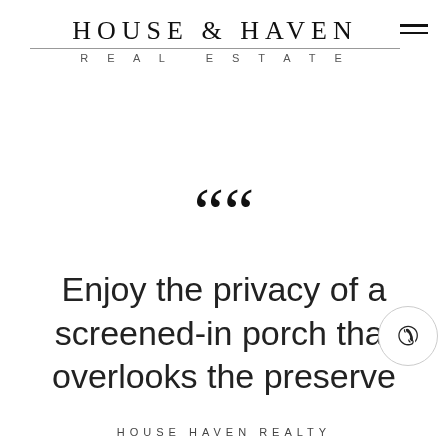HOUSE & HAVEN REAL ESTATE
““
Enjoy the privacy of a screened-in porch that overlooks the preserve
HOUSE HAVEN REALTY